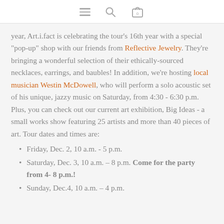[menu icon] [search icon] [cart icon: 0]
year, Art.i.fact is celebrating the tour’s 16th year with a special "pop-up" shop with our friends from Reflective Jewelry. They’re bringing a wonderful selection of their ethically-sourced necklaces, earrings, and baubles! In addition, we’re hosting local musician Westin McDowell, who will perform a solo acoustic set of his unique, jazzy music on Saturday, from 4:30 - 6:30 p.m. Plus, you can check out our current art exhibition, Big Ideas - a small works show featuring 25 artists and more than 40 pieces of art. Tour dates and times are:
Friday, Dec. 2, 10 a.m. - 5 p.m.
Saturday, Dec. 3, 10 a.m. – 8 p.m. Come for the party from 4- 8 p.m.!
Sunday, Dec.4, 10 a.m. – 4 p.m.